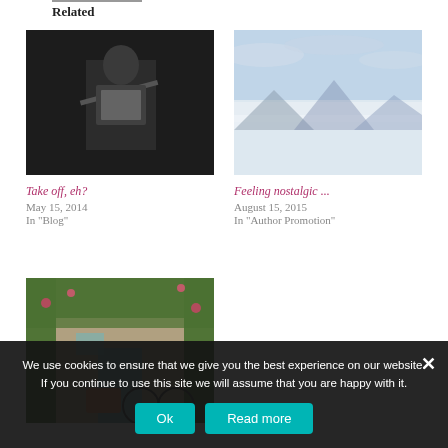Related
[Figure (photo): Person in dark clothing holding/reading papers or a laptop in a dimly lit room]
Take off, eh?
May 15, 2014
In "Blog"
[Figure (photo): Aerial view of mountains and sky above clouds]
Feeling nostalgic ...
August 15, 2015
In "Author Promotion"
[Figure (photo): Stone house facade with blue shuttered door surrounded by lush vines and flowers]
We use cookies to ensure that we give you the best experience on our website. If you continue to use this site we will assume that you are happy with it.